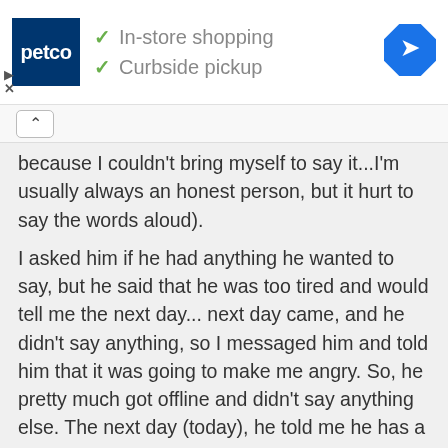[Figure (screenshot): Petco advertisement banner showing logo, 'In-store shopping' and 'Curbside pickup' with checkmarks, and a navigation arrow icon]
because I couldn't bring myself to say it...I'm usually always an honest person, but it hurt to say the words aloud).
I asked him if he had anything he wanted to say, but he said that he was too tired and would tell me the next day... next day came, and he didn't say anything, so I messaged him and told him that it was going to make me angry. So, he pretty much got offline and didn't say anything else. The next day (today), he told me he has a lot of stuff going on with his family, so I didn't press the issue again.
So, one.. am I wasting my time? (I'm a Virgo -